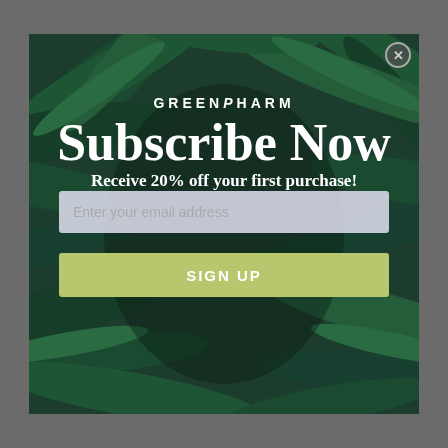[Figure (screenshot): A popup modal with dark green tropical leaves background. Top right has a close (X) button. Center shows the GreenPharm brand name, 'Subscribe Now' heading, '20% off' offer text, an email input field, and a light green SIGN UP button.]
GREENPHARM
Subscribe Now
Receive 20% off your first purchase!
Enter your email address
SIGN UP